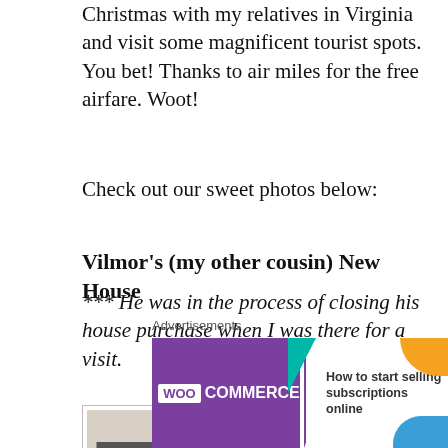Christmas with my relatives in Virginia and visit some magnificent tourist spots. You bet! Thanks to air miles for the free airfare. Woot!
Check out our sweet photos below:
Vilmor's (my other cousin) New House
*** He was in the process of closing his house purchase when I was there for a visit.
[Figure (photo): Two photos side by side: left shows a person in a dark jacket in an empty room with a fireplace; right shows three young women making peace signs.]
Advertisements
[Figure (other): WooCommerce advertisement banner: purple left side with WooCommerce logo and teal arrow, right side with text 'How to start selling subscriptions online' and orange/blue decorative shapes.]